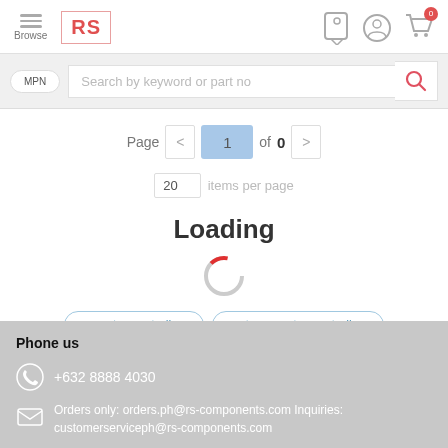[Figure (screenshot): RS Components website header with hamburger menu, RS logo, and navigation icons (location, account, cart with 0 badge)]
[Figure (screenshot): Search bar with MPN toggle button and search input placeholder 'Search by keyword or part no' with a pink search icon]
Page  <  1  of 0  >
20  items per page
Loading
oy motor controllers
systems motor controllers
Phone us
+632 8888 4030
Orders only: orders.ph@rs-components.com Inquiries: customerserviceph@rs-components.com